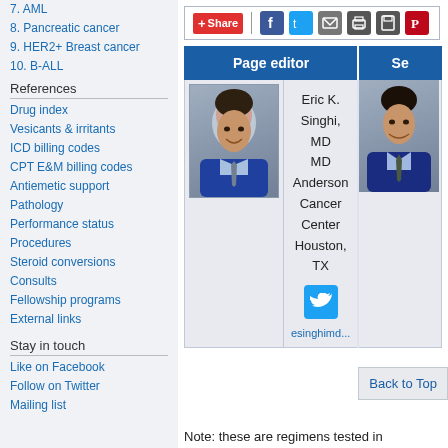7. AML
8. Pancreatic cancer
9. HER2+ Breast cancer
10. B-ALL
References
Drug index
Vesicants & irritants
ICD billing codes
CPT E&M billing codes
Antiemetic support
Pathology
Performance status
Procedures
Steroid conversions
Consults
Fellowship programs
External links
Stay in touch
Like on Facebook
Follow on Twitter
Mailing list
[Figure (screenshot): Social share bar with Share button and icons for Facebook, Twitter, Email, Print, Save, Pinterest]
| Page editor | Se... |
| --- | --- |
| Eric K. Singhi, MD MD Anderson Cancer Center Houston, TX @esinghimd... |  |
Note: these are regimens tested in